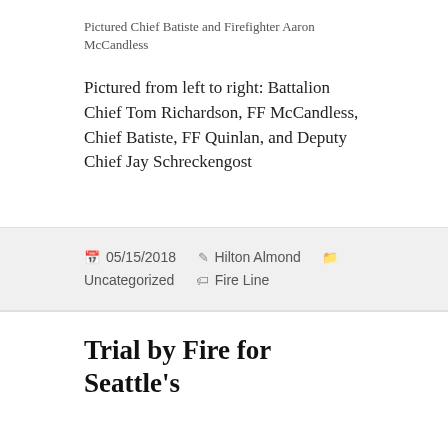Pictured Chief Batiste and Firefighter Aaron McCandless
Pictured from left to right: Battalion Chief Tom Richardson, FF McCandless, Chief Batiste, FF Quinlan, and Deputy Chief Jay Schreckengost
05/15/2018  Hilton Almond  Uncategorized  Fire Line
Trial by Fire for Seattle's